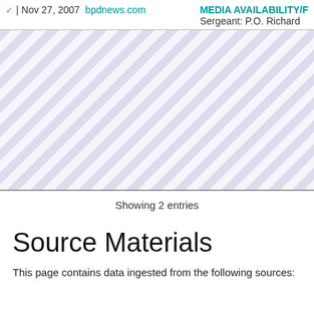✓ | Nov 27, 2007  bpdnews.com  MEDIA AVAILABILITY/F  Sergeant: P.O. Richard
[Figure (other): Striped diagonal pattern area representing redacted or image content]
Showing 2 entries
Source Materials
This page contains data ingested from the following sources: